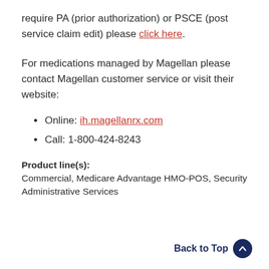require PA (prior authorization) or PSCE (post service claim edit) please click here.
For medications managed by Magellan please contact Magellan customer service or visit their website:
Online: ih.magellanrx.com
Call: 1-800-424-8243
Product line(s): Commercial, Medicare Advantage HMO-POS, Security Administrative Services
Back to Top